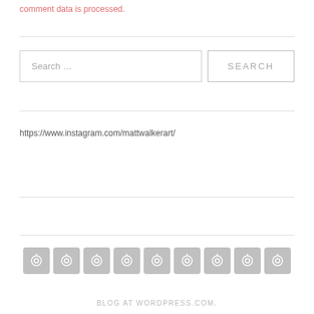comment data is processed.
Search …
https://www.instagram.com/mattwalkerart/
[Figure (other): Row of 9 social media icon buttons with circular arrow/refresh icons on grey rounded square backgrounds]
BLOG AT WORDPRESS.COM.